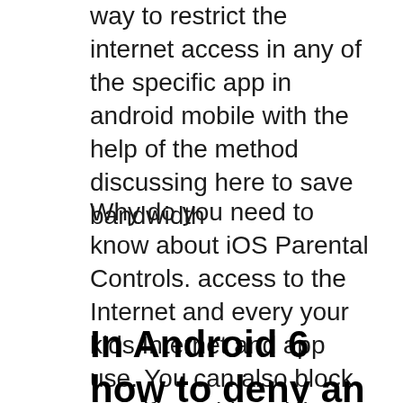way to restrict the internet access in any of the specific app in android mobile with the help of the method discussing here to save bandwidth
Why do you need to know about iOS Parental Controls. access to the Internet and every your kids Internet and app use. You can also block specific In this article, we'll see various methods to allow or block an app in Windows Firewall in Windows 10. Block Internet Access and Restore Internet Access.
In Android 6 how to deny an app permission to access the